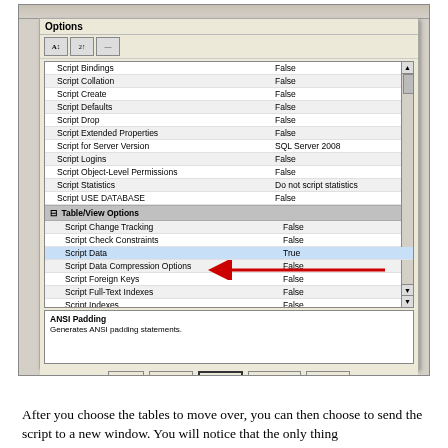[Figure (screenshot): SQL Server Management Studio Options dialog showing scripting settings. The dialog shows a list of script options including Script Bindings, Script Collation, Script Create, Script Defaults, Script Drop, Script Extended Properties, Script for Server Version (SQL Server 2008), Script Logins, Script Object-Level Permissions, Script Statistics (Do not script statistics), Script USE DATABASE, then a Table/View Options section with Script Change Tracking, Script Check Constraints, Script Data (True, highlighted with red arrow), Script Data Compression Options, Script Foreign Keys, Script Full-Text Indexes, Script Indexes, Script Primary Keys, Script Triggers all False. A description box shows ANSI Padding info. Bottom buttons: Help, Back, Next, Finish, Cancel.]
After you choose the tables to move over, you can then choose to send the script to a new window. You will notice that the only thing